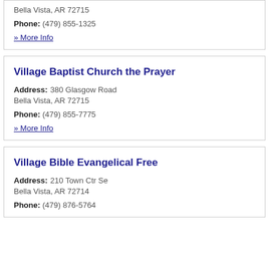Bella Vista, AR 72715
Phone: (479) 855-1325
» More Info
Village Baptist Church the Prayer
Address: 380 Glasgow Road
Bella Vista, AR 72715
Phone: (479) 855-7775
» More Info
Village Bible Evangelical Free
Address: 210 Town Ctr Se
Bella Vista, AR 72714
Phone: (479) 876-5764